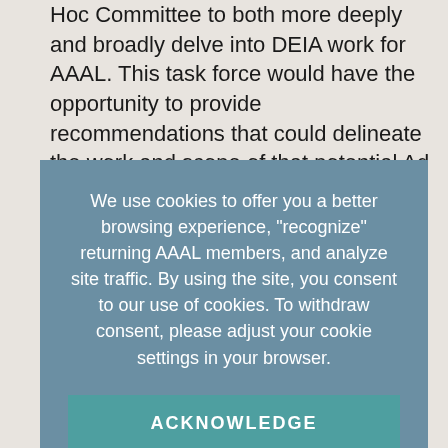Hoc Committee to both more deeply and broadly delve into DEIA work for AAAL. This task force would have the opportunity to provide recommendations that could delineate the work and scope of that potential Ad Hoc
[Figure (screenshot): Cookie consent overlay banner with text: 'We use cookies to offer you a better browsing experience, "recognize" returning AAAL members, and analyze site traffic. By using the site, you consent to our use of cookies. To withdraw consent, please adjust your cookie settings in your browser.' with an ACKNOWLEDGE button below.]
standing committee and considered essential to the organization with a majority vote of the EC members. The recommendation to proceed with a presidential appointment of a task force was well received and unanimously supported by members of the EC with the additional request of having the task force, first and foremost, determine if the formation of a potential committee is the preferred way to proceed or not, providing alternatives to consider if another approach is deemed more adequate to fulfill the organization's agenda